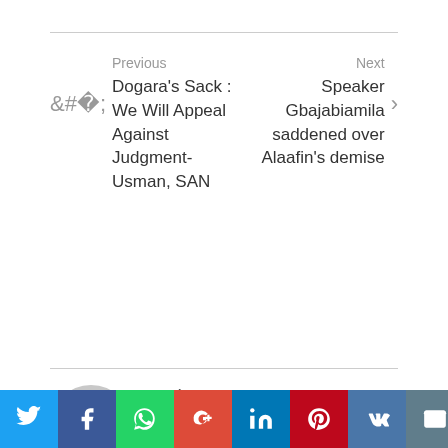Previous
Dogara's Sack : We Will Appeal Against Judgment- Usman, SAN
Next
Speaker Gbajabiamila saddened over Alaafin's demise
updates
Welcome to TheAfricangongonline,it is a platform to serve you better in the dissemination of fresh news. Our mission is to inform the public as event is breaking with special focus on politics. The mission is to be part of the efforts to build a viral and strong nation through good reporting. Like and Follow our